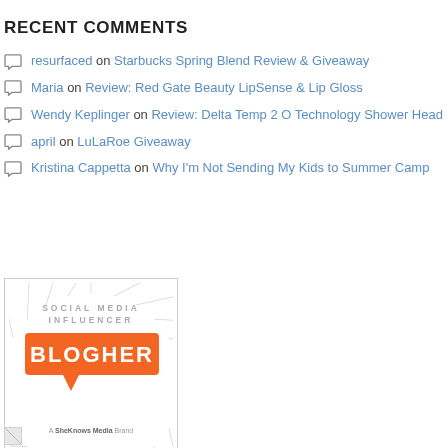RECENT COMMENTS
resurfaced on Starbucks Spring Blend Review & Giveaway
Maria on Review: Red Gate Beauty LipSense & Lip Gloss
Wendy Keplinger on Review: Delta Temp 2 O Technology Shower Head
april on LuLaRoe Giveaway
Kristina Cappetta on Why I'm Not Sending My Kids to Summer Camp
[Figure (logo): BlogHer Social Media Influencer badge - orange speech bubble with BLOGHER text, rays background, A SheKnows Media Brand tagline]